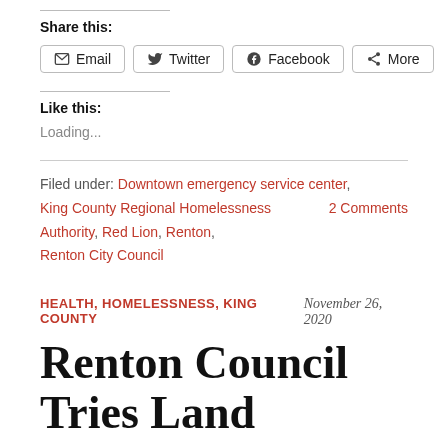Share this:
Email  Twitter  Facebook  More
Like this:
Loading...
Filed under: Downtown emergency service center,   2 Comments King County Regional Homelessness Authority, Red Lion, Renton, Renton City Council
HEALTH, HOMELESSNESS, KING COUNTY   November 26, 2020
Renton Council Tries Land